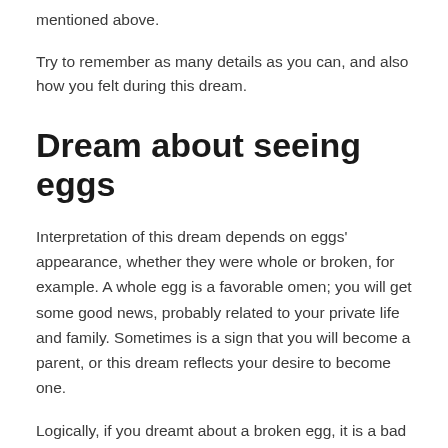mentioned above.
Try to remember as many details as you can, and also how you felt during this dream.
Dream about seeing eggs
Interpretation of this dream depends on eggs' appearance, whether they were whole or broken, for example. A whole egg is a favorable omen; you will get some good news, probably related to your private life and family. Sometimes is a sign that you will become a parent, or this dream reflects your desire to become one.
Logically, if you dreamt about a broken egg, it is a bad